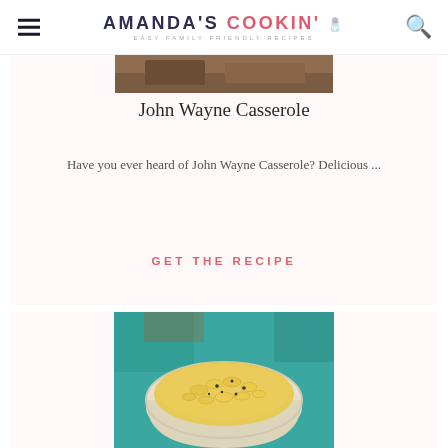AMANDA'S COOKIN' — EASY FAMILY FRIENDLY RECIPES
[Figure (photo): Partial top of a food photo showing a casserole dish]
John Wayne Casserole
Have you ever heard of John Wayne Casserole? Delicious ...
GET THE RECIPE
[Figure (photo): A white bowl filled with creamy macaroni and cheese topped with black pepper, on a teal background]